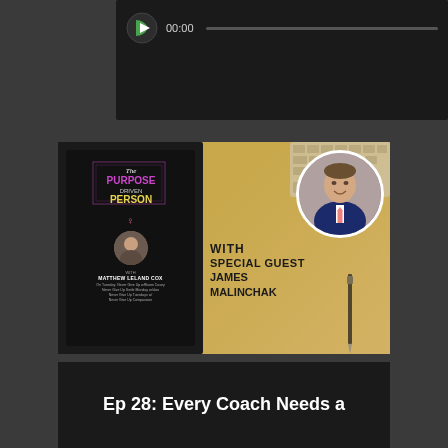[Figure (screenshot): Audio player widget showing play button icon (green/white), timestamp 00:00, and a playback progress bar on dark background]
[Figure (photo): Podcast promotional thumbnail for 'The Purpose Driven Person' podcast with special guest James Malinchak. Left side shows a phone with the podcast logo (The Purpose Driven Person with Matthew Leland Cox). Right side shows 'WITH SPECIAL GUEST JAMES MALINCHAK' text on golden/amber background with circular headshot of James Malinchak (man in blue suit with pink tie), keyboard and pen in background.]
Ep 28: Every Coach Needs a